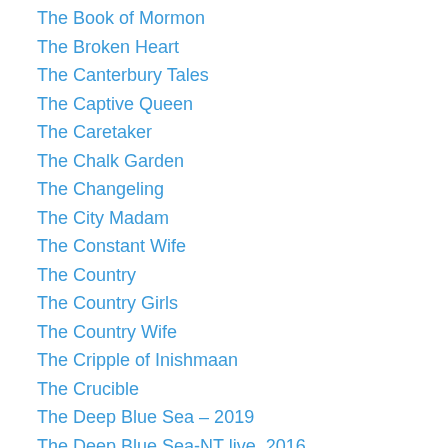The Book of Mormon
The Broken Heart
The Canterbury Tales
The Captive Queen
The Caretaker
The Chalk Garden
The Changeling
The City Madam
The Constant Wife
The Country
The Country Girls
The Country Wife
The Cripple of Inishmaan
The Crucible
The Deep Blue Sea – 2019
The Deep Blue Sea-NT live, 2016
The Dresser
The Duchess of Malfi – 2012
The Duchess of Malfi – 2014
The Duchess of Malfi – RSC 2108